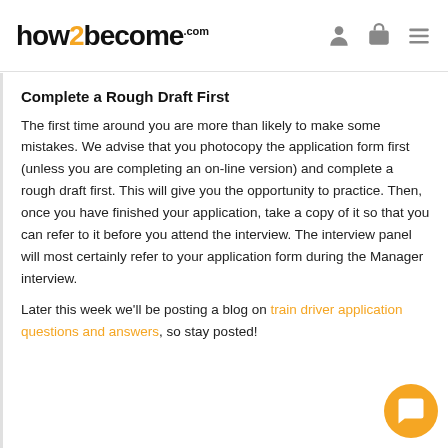how2become.com
Complete a Rough Draft First
The first time around you are more than likely to make some mistakes. We advise that you photocopy the application form first (unless you are completing an on-line version) and complete a rough draft first. This will give you the opportunity to practice. Then, once you have finished your application, take a copy of it so that you can refer to it before you attend the interview. The interview panel will most certainly refer to your application form during the Manager interview.
Later this week we'll be posting a blog on train driver application questions and answers, so stay posted!